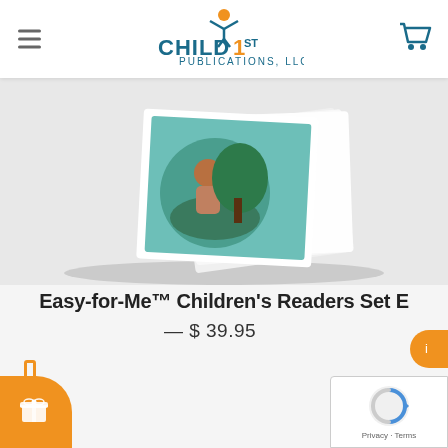Child1st Publications, LLC
[Figure (photo): Product image of Easy-for-Me Children's Readers Set E - books fanned open on a light background]
Easy-for-Me™ Children's Readers Set E
— $ 39.95